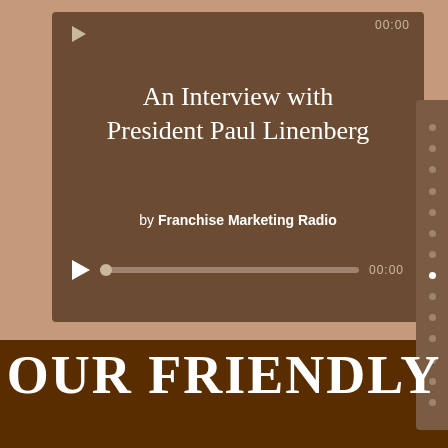[Figure (screenshot): Audio media player widget with dark brown background showing 'An Interview with President Paul Linenberg' by Franchise Marketing Radio, with play button, progress bar, and 00:00 time display]
An Interview with President Paul Linenberg
by Franchise Marketing Radio
OUR FRIENDLY